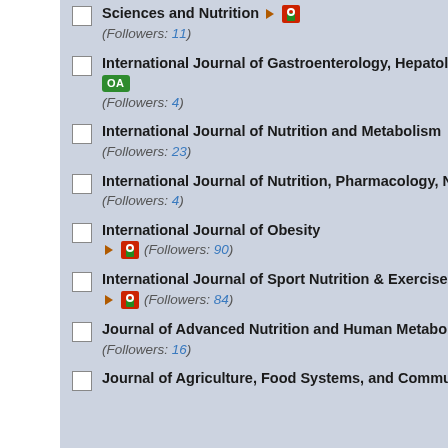Sciences and Nutrition (Followers: 11)
International Journal of Gastroenterology, Hepatology, Transplant and Nutrition OA (Followers: 4)
International Journal of Nutrition and Metabolism OA (Followers: 23)
International Journal of Nutrition, Pharmacology, Neurological Diseases OA (Followers: 4)
International Journal of Obesity (Followers: 90)
International Journal of Sport Nutrition & Exercise Metabolism (Followers: 84)
Journal of Advanced Nutrition and Human Metabolism OA (Followers: 16)
Journal of Agriculture, Food Systems, and Community Development OA